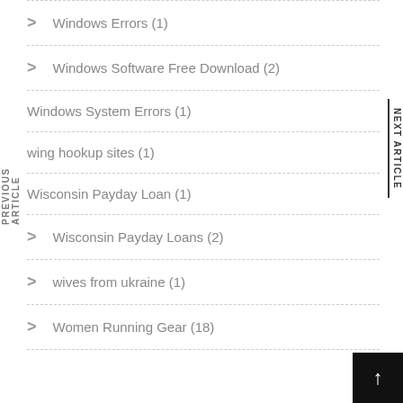Windows Errors (1)
Windows Software Free Download (2)
Windows System Errors (1)
wing hookup sites (1)
Wisconsin Payday Loan (1)
Wisconsin Payday Loans (2)
wives from ukraine (1)
Women Running Gear (18)